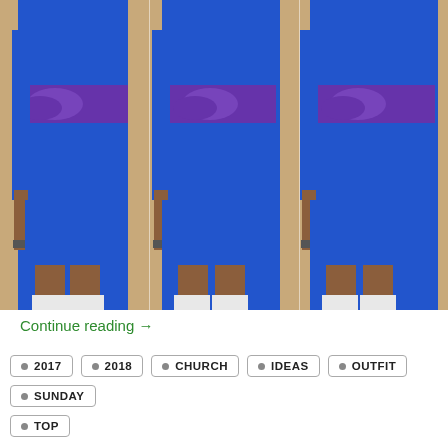[Figure (photo): Three side-by-side photos of a woman wearing a royal blue bodycon dress with a purple bow/sash tie at the waist and white strappy heels, standing against a beige wall.]
Continue reading →
2017
2018
CHURCH
IDEAS
OUTFIT
SUNDAY
TOP